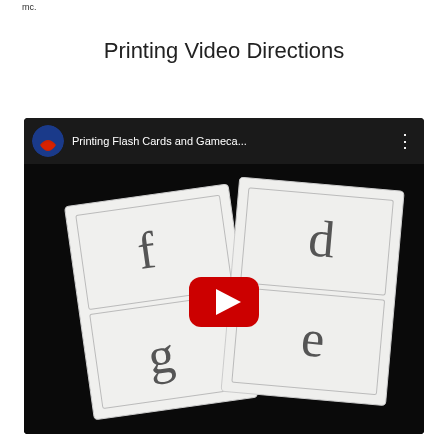mc.
Printing Video Directions
[Figure (screenshot): YouTube video embed showing 'Printing Flash Cards and Gameca...' with a YouTube play button overlay. The video thumbnail shows two paper flash cards on a dark background with letters f, g, d, e printed on them.]